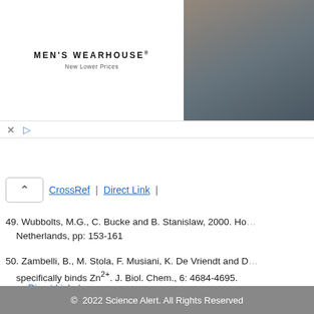[Figure (photo): Men's Wearhouse advertisement banner showing a couple in formal wear and a man in a suit, with an INFO button]
CrossRef | Direct Link |
49. Wubbolts, M.G., C. Bucke and B. Stanislaw, 2000. Ho... Netherlands, pp: 153-161
50. Zambelli, B., M. Stola, F. Musiani, K. De Vriendt and ... specifically binds Zn2+. J. Biol. Chem., 6: 4684-4695.
Direct Link |
© 2022 Science Alert. All Rights Reserved